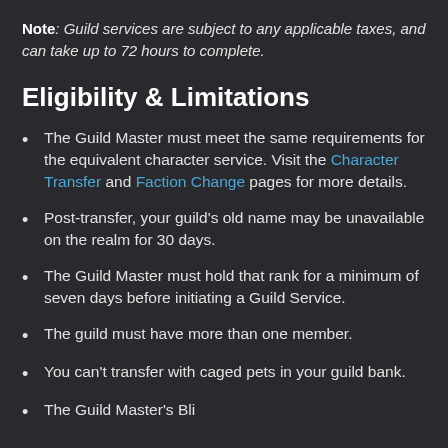Note: Guild services are subject to any applicable taxes, and can take up to 72 hours to complete.
Eligibility & Limitations
The Guild Master must meet the same requirements for the equivalent character service. Visit the Character Transfer and Faction Change pages for more details.
Post-transfer, your guild's old name may be unavailable on the realm for 30 days.
The Guild Master must hold that rank for a minimum of seven days before initiating a Guild Service.
The guild must have more than one member.
You can't transfer with caged pets in your guild bank.
The Guild Master's Blizzard account must be...